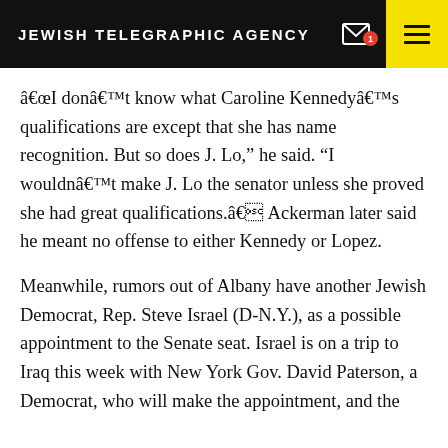JEWISH TELEGRAPHIC AGENCY
â€œI donâ€™t know what Caroline Kennedyâ€™s qualifications are except that she has name recognition. But so does J. Lo," he said. "I wouldnâ€™t make J. Lo the senator unless she proved she had great qualifications.â€ Ackerman later said he meant no offense to either Kennedy or Lopez.
Meanwhile, rumors out of Albany have another Jewish Democrat, Rep. Steve Israel (D-N.Y.), as a possible appointment to the Senate seat. Israel is on a trip to Iraq this week with New York Gov. David Paterson, a Democrat, who will make the appointment, and the New York delegation representatives...